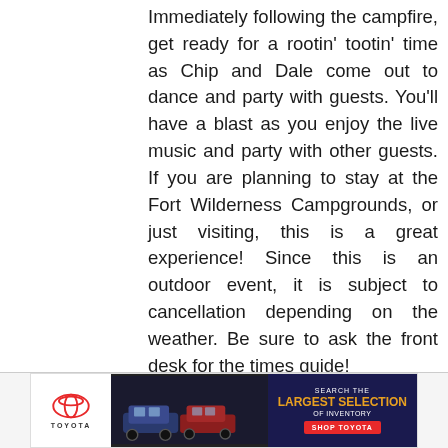Immediately following the campfire, get ready for a rootin' tootin' time as Chip and Dale come out to dance and party with guests. You'll have a blast as you enjoy the live music and party with other guests. If you are planning to stay at the Fort Wilderness Campgrounds, or just visiting, this is a great experience! Since this is an outdoor event, it is subject to cancellation depending on the weather. Be sure to ask the front desk for the times guide!
[Figure (illustration): Toyota advertisement banner showing cars and text 'SEARCH THE LARGEST SELECTION OF INVENTORY' with 'SHOP TOYOTA' button and Toyota logo]